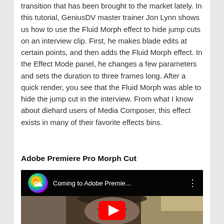transition that has been brought to the market lately. In this tutorial, GeniusDV master trainer Jon Lynn shows us how to use the Fluid Morph effect to hide jump cuts on an interview clip. First, he makes blade edits at certain points, and then adds the Fluid Morph effect. In the Effect Mode panel, he changes a few parameters and sets the duration to three frames long. After a quick render, you see that the Fluid Morph was able to hide the jump cut in the interview. From what I know about diehard users of Media Composer, this effect exists in many of their favorite effects bins.
Adobe Premiere Pro Morph Cut
[Figure (screenshot): YouTube video thumbnail showing 'Coming to Adobe Premiere...' with Adobe Creative Cloud logo icon and a man's face visible below the title bar, with a red YouTube play button at the bottom.]